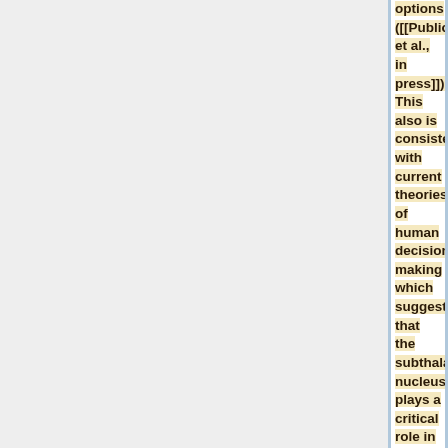options ([[Publications#ZaghEtal12|Zaghloul et al., in press]]). This also is consistent with current theories of human decision making which suggest that the subthalamic nucleus plays a critical role in making difficult "high-conflict" decisions (Frank et al 2006). By studying the neural mechanisms